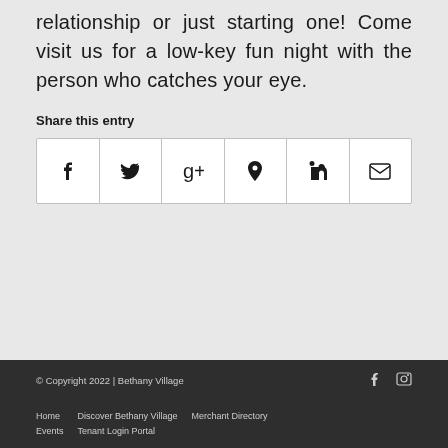relationship or just starting one! Come visit us for a low-key fun night with the person who catches your eye.
Share this entry
[Figure (other): Social sharing icons row: Facebook, Twitter, Google+, Pinterest, LinkedIn, Email]
© Copyright 2022 | Bethany Village
Home  Discover Bethany Village  Merchant Directory
Events  Tenant Login Portal